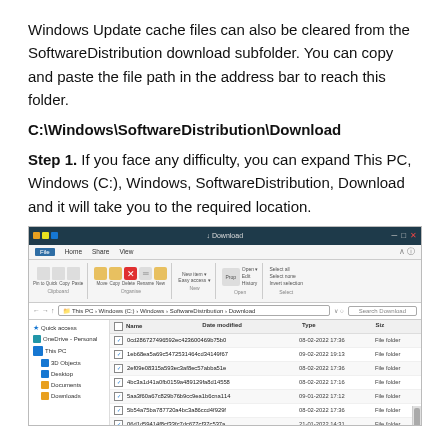Windows Update cache files can also be cleared from the SoftwareDistribution download subfolder. You can copy and paste the file path in the address bar to reach this folder.
C:\Windows\SoftwareDistribution\Download
Step 1. If you face any difficulty, you can expand This PC, Windows (C:), Windows, SoftwareDistribution, Download and it will take you to the required location.
[Figure (screenshot): Windows File Explorer window showing the SoftwareDistribution Download folder contents with multiple file folder entries listed with checkboxes, dates, and type columns.]